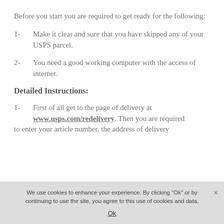Before you start you are required to get ready for the following:
1-   Make it clear and sure that you have skipped any of your USPS parcel.
2-   You need a good working computer with the access of internet.
Detailed Instructions:
1-   First of all get to the page of delivery at www.usps.com/redelivery. Then you are required to enter your article number, the address of delivery
We use cookies to enhance your experience. By clicking "Ok" or by continuing to use the site, you agree to this use of cookies and data.
Ok
Business Plan Templates